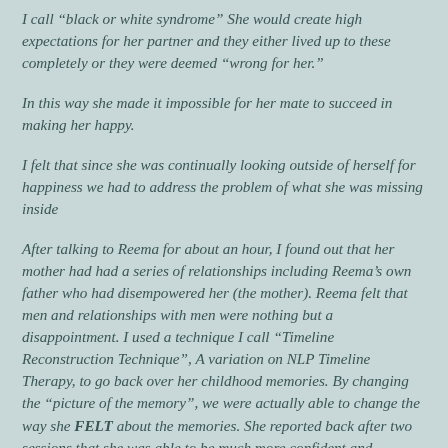I call “black or white syndrome” She would create high expectations for her partner and they either lived up to these completely or they were deemed “wrong for her.”
In this way she made it impossible for her mate to succeed in making her happy.
I felt that since she was continually looking outside of herself for happiness we had to address the problem of what she was missing inside
After talking to Reema for about an hour, I found out that her mother had had a series of relationships including Reema’s own father who had disempowered her (the mother). Reema felt that men and relationships with men were nothing but a disappointment. I used a technique I call “Timeline Reconstruction Technique”, A variation on NLP Timeline Therapy, to go back over her childhood memories. By changing the “picture of the memory”, we were actually able to change the way she FELT about the memories. She reported back after two sessions that she was able to be much more confident and